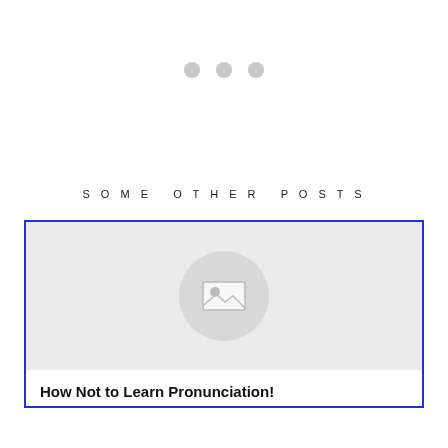[Figure (other): Three small grey dots arranged horizontally, used as a decorative or pagination element]
SOME OTHER POSTS
[Figure (illustration): A card with a blue border containing a grey placeholder image area with a rounded image icon, and the title 'How Not to Learn Pronunciation!' below it]
How Not to Learn Pronunciation!